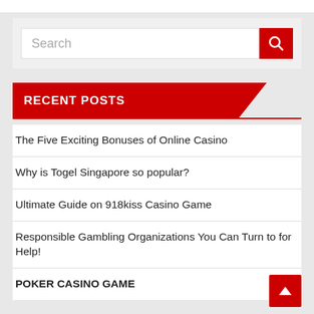[Figure (screenshot): Search bar with text input field and red search button icon]
RECENT POSTS
The Five Exciting Bonuses of Online Casino
Why is Togel Singapore so popular?
Ultimate Guide on 918kiss Casino Game
Responsible Gambling Organizations You Can Turn to for Help!
POKER CASINO GAME